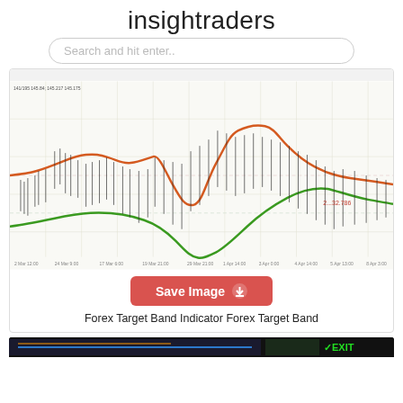insightraders
Search and hit enter..
[Figure (continuous-plot): Forex trading chart showing candlestick price action with two curved band indicator lines: an upper orange/red band and a lower green band, resembling a Bollinger Band or channel indicator. The chart shows price oscillating between the bands over a multi-week period. A dashed horizontal reference line is visible. Time axis labels along the bottom show dates in March-April.]
Save Image
Forex Target Band Indicator Forex Target Band
[Figure (screenshot): Partial view of another trading chart at the bottom, dark background with colorful indicators and an EXIT label in green.]